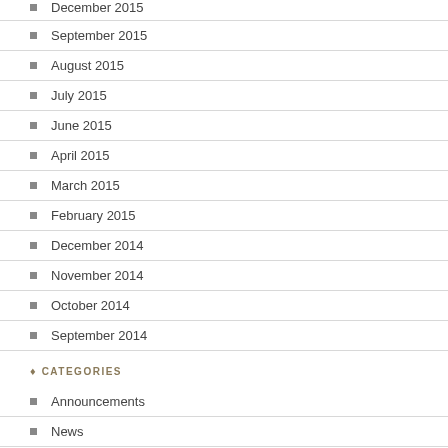December 2015
September 2015
August 2015
July 2015
June 2015
April 2015
March 2015
February 2015
December 2014
November 2014
October 2014
September 2014
CATEGORIES
Announcements
News